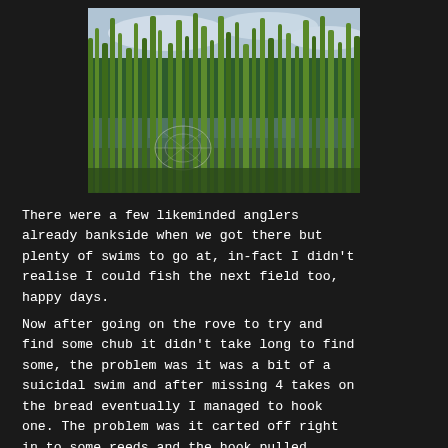[Figure (photo): A close-up photograph of green reeds and tall grass growing along the edge of a body of water, with a spider web visible among the vegetation and a cloudy sky in the background.]
There were a few likeminded anglers already bankside when we got there but plenty of swims to go at, in-fact I didn't realise I could fish the next field too, happy days.
Now after going on the rove to try and find some chub it didn't take long to find some, the problem was it was a bit of a suicidal swim and after missing 4 takes on the bread eventually I managed to hook one. The problem was it carted off right in to some reeds and the hook pulled